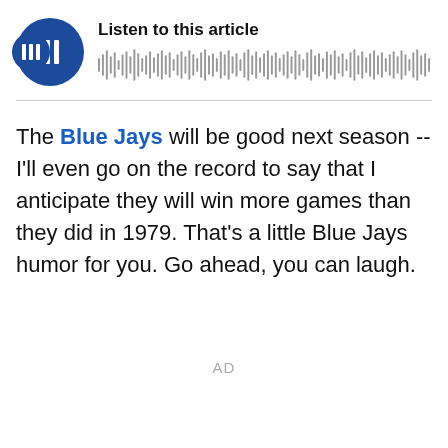[Figure (other): Audio player widget with a circular dark blue play button icon on the left and a waveform/audio progress bar on the right, with the label 'Listen to this article' above the waveform.]
The Blue Jays will be good next season -- I'll even go on the record to say that I anticipate they will win more games than they did in 1979. That's a little Blue Jays humor for you. Go ahead, you can laugh.
AD